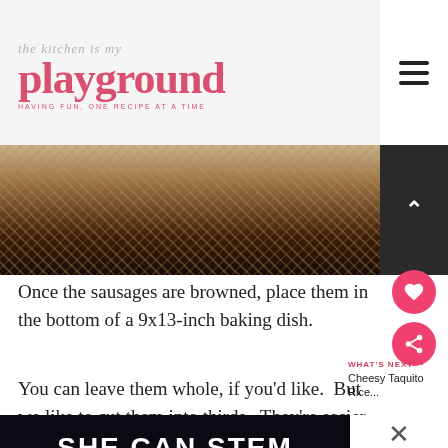the kitchen is my playground — HAVING FUN, ONE RECIPE AT A TIME
[Figure (photo): Close-up photo of what appears to be burlap/mesh fabric over dark chocolate brownies or similar baked goods]
Once the sausages are browned, place them in the bottom of a 9x13-inch baking dish.
You can leave them whole, if you'd like. But we like to cut them into thirds. They're easier to serve that way, and give more flexibility in serving size.
[Figure (other): SHE CAN STEM banner advertisement in dark background with white bold text]